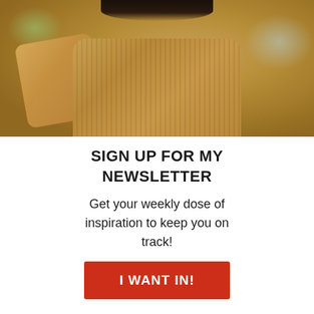[Figure (photo): A woman wearing a tan/camel ribbed turtleneck sweater, holding a tan bag over her shoulder. Dark hair visible at top. Blurred outdoor background.]
SIGN UP FOR MY NEWSLETTER
Get your weekly dose of inspiration to keep you on track!
I WANT IN!